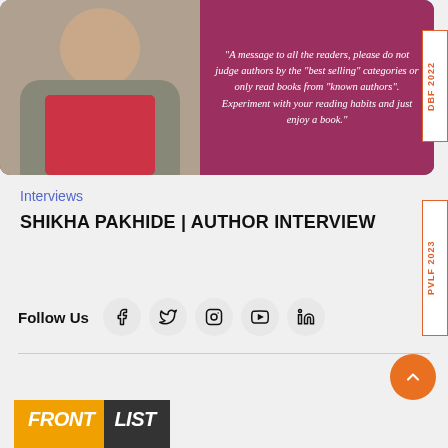[Figure (photo): Photo of author Shikha Pakhide with a quote on magenta background: 'A message to all the readers, please do not judge authors by the "best selling" categories or only read books from "known authors". Experiment with your reading habits and just enjoy a book.']
Interviews
SHIKHA PAKHIDE | AUTHOR INTERVIEW
Follow Us
[Figure (logo): FRONT LIST logo in orange and dark grey]